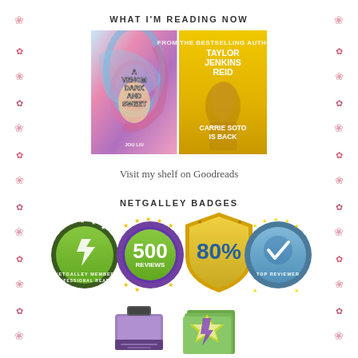WHAT I'M READING NOW
[Figure (photo): Two book covers side by side: 'A Venom Dark and Sweet' with colorful swirling art, and 'Carrie Soto Is Back' by Taylor Jenkins Reid with a gold cover.]
Visit my shelf on Goodreads
NETGALLEY BADGES
[Figure (other): Four NetGalley badges: NetGalley Member Professional Reader (green circular badge), 500 Reviews (purple circular badge with stars), 80% (gold shield badge), Top Reviewer (blue circular badge with stars and checkmark). Bottom row shows partial badges: an ink stamp badge and a green stacked pages badge.]